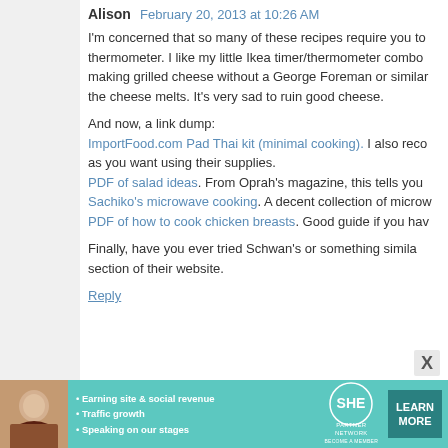Alison  February 20, 2013 at 10:26 AM
I'm concerned that so many of these recipes require you to thermometer. I like my little Ikea timer/thermometer combo making grilled cheese without a George Foreman or similar the cheese melts. It's very sad to ruin good cheese.
And now, a link dump:
ImportFood.com Pad Thai kit (minimal cooking). I also reco as you want using their supplies.
PDF of salad ideas. From Oprah's magazine, this tells you
Sachiko's microwave cooking. A decent collection of microw
PDF of how to cook chicken breasts. Good guide if you hav
Finally, have you ever tried Schwan's or something simila section of their website.
Reply
Scrivvet  February 20, 2013 at 10:27 AM
Here's a classic from my Midwestern upbringing: tuna cas can mess with the ratios without destroying it.
Boil a largish bag of egg noodles. Crack open and drain mash it up a bit before using it) and mix with two ca doesn't taste as good. Grease a casserole dish (glas
[Figure (photo): Advertisement banner for SHE Partner Network with woman photo, bullet points about earning, traffic growth, speaking on stages, SHE logo, and Learn More button]
[Figure (photo): Avatar image for user Scrivvet showing a person with red background]